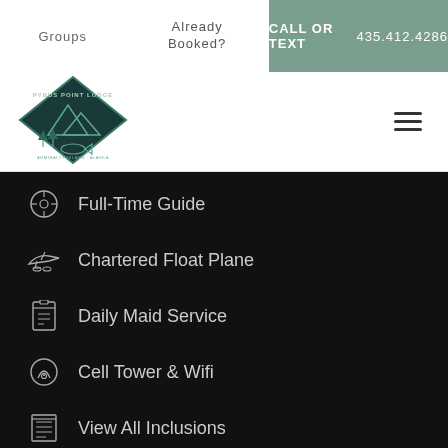Groups   Already Booked?   CALL OR TEXT 435.412.4286
[Figure (logo): Pybus Point Lodge diamond-shaped logo with mountains, trees, and fish, text reads PYBUS POINT LODGE, Admiralty Island, Alaska]
Full-Time Guide
Chartered Float Plane
Daily Maid Service
Cell Tower & Wifi
View All Inclusions
WILDLIFE ECO-TOURS
Humpback Whale Watching